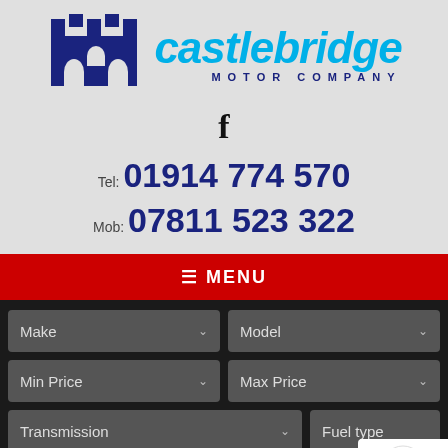[Figure (logo): Castlebridge Motor Company logo with blue castle icon and stylized text]
f
Tel: 01914 774 570
Mob: 07811 523 322
≡ MENU
Make
Model
Min Price
Max Price
Transmission
Fuel type
Keywords search